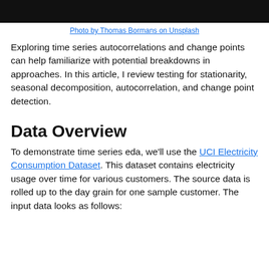[Figure (photo): Black banner/header image at the top of the page]
Photo by Thomas Bormans on Unsplash
Exploring time series autocorrelations and change points can help familiarize with potential breakdowns in approaches. In this article, I review testing for stationarity, seasonal decomposition, autocorrelation, and change point detection.
Data Overview
To demonstrate time series eda, we'll use the UCI Electricity Consumption Dataset. This dataset contains electricity usage over time for various customers. The source data is rolled up to the day grain for one sample customer. The input data looks as follows: